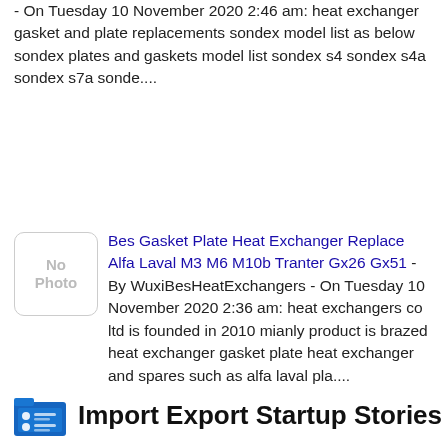- On Tuesday 10 November 2020 2:46 am: heat exchanger gasket and plate replacements sondex model list as below sondex plates and gaskets model list sondex s4 sondex s4a sondex s7a sonde....
[Figure (other): No Photo placeholder box]
Bes Gasket Plate Heat Exchanger Replace Alfa Laval M3 M6 M10b Tranter Gx26 Gx51 - By WuxiBesHeatExchangers - On Tuesday 10 November 2020 2:36 am: heat exchangers co ltd is founded in 2010 mianly product is brazed heat exchanger gasket plate heat exchanger and spares such as alfa laval pla....
Import Export Startup Stories